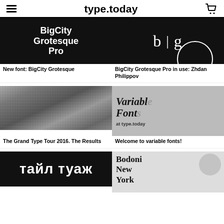type.today
[Figure (illustration): Black background with bold white text: BigCity Grotesque Pro]
[Figure (illustration): Black background with serif letters b and g separated by a vertical line, with a white circle arc at bottom right]
New font: BigCity Grotesque
BigCity Grotesque Pro in use: Zhdan Philippov
[Figure (photo): Black and white group photo of many people at the Grand Type Tour 2016]
[Figure (illustration): Gray background with large bold italic text reading Variable Fonts at type.today]
The Grand Type Tour 2016. The Results
Welcome to variable fonts!
[Figure (illustration): Black background with large Cyrillic text partially visible at bottom]
[Figure (illustration): Light background with Bodoni New York text and decorative graphic elements]